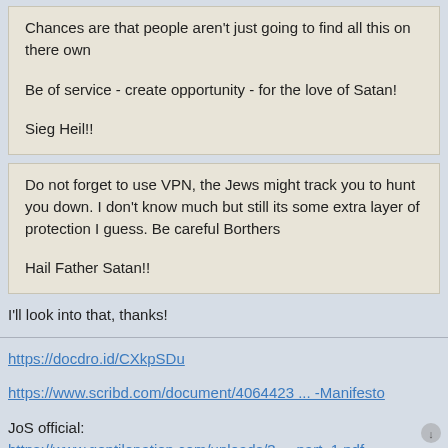Chances are that people aren't just going to find all this on there own

Be of service - create opportunity - for the love of Satan!

Sieg Heil!!
Do not forget to use VPN, the Jews might track you to hunt you down. I don't know much but still its some extra layer of protection I guess. Be careful Borthers

Hail Father Satan!!
I'll look into that, thanks!
https://docdro.id/CXkpSDu

https://www.scribd.com/document/4064423 ... -Manifesto

JoS official:
https://www.gentilenation.com/uploads/3 ... part_1.pdf